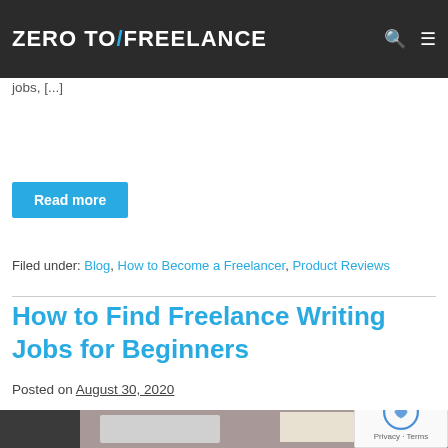ZERO TO FREELANCE
more details, please read my full disclosure. By Amanda ... As a beginning freelancer, finding work can be difficult ... search for freelance jobs, [...]
Read more
Filed under: Blog, How to Become a Freelancer, Product Reviews
How to Find Freelance Writing Jobs for Beginners
Posted on August 30, 2020
[Figure (photo): Desk workspace with laptop, flowers and books in background]